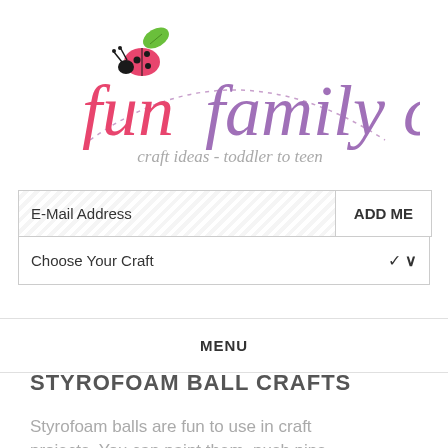[Figure (logo): Fun Family Crafts logo with ladybug and green leaf illustration, pink 'fun' text, purple 'family crafts' text, and subtitle 'craft ideas - toddler to teen' in gray, with dotted curved arc]
E-Mail Address
ADD ME
Choose Your Craft
MENU
STYROFOAM BALL CRAFTS
Styrofoam balls are fun to use in craft projects. You can paint them, push pins